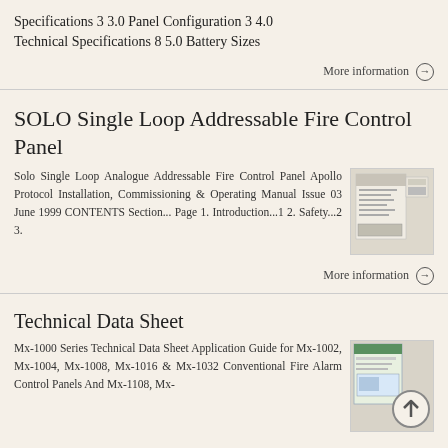Specifications 3 3.0 Panel Configuration 3 4.0 Technical Specifications 8 5.0 Battery Sizes
More information →
SOLO Single Loop Addressable Fire Control Panel
Solo Single Loop Analogue Addressable Fire Control Panel Apollo Protocol Installation, Commissioning & Operating Manual Issue 03 June 1999 CONTENTS Section... Page 1. Introduction...1 2. Safety...2 3.
[Figure (photo): Thumbnail image of SOLO Single Loop Addressable Fire Control Panel document cover]
More information →
Technical Data Sheet
Mx-1000 Series Technical Data Sheet Application Guide for Mx-1002, Mx-1004, Mx-1008, Mx-1016 & Mx-1032 Conventional Fire Alarm Control Panels And Mx-1108, Mx-
[Figure (photo): Thumbnail image of Mx-1000 Series Technical Data Sheet with back-to-top button overlay]